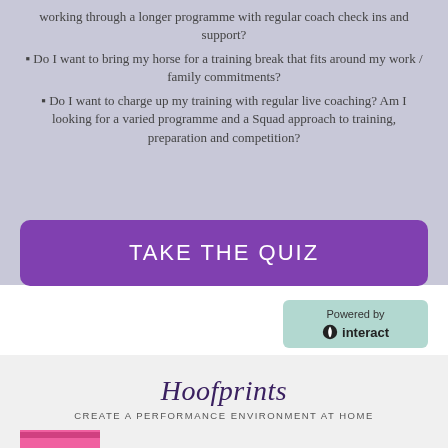working through a longer programme with regular coach check ins and support?
Do I want to bring my horse for a training break that fits around my work / family commitments?
Do I want to charge up my training with regular live coaching? Am I looking for a varied programme and a Squad approach to training, preparation and competition?
TAKE THE QUIZ
Powered by interact
Hoofprints
CREATE A PERFORMANCE ENVIRONMENT AT HOME